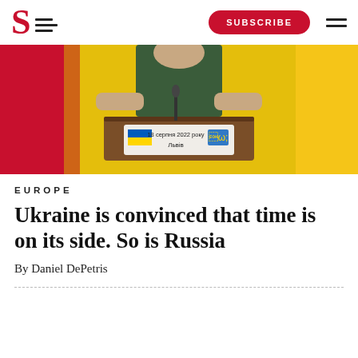S [logo] | SUBSCRIBE | menu
[Figure (photo): A person in a dark green shirt stands at a wooden podium with a Ukrainian flag and trident emblem. The podium sign reads '18 серпня 2022 року Львів'. Background is red on the left and yellow on the right.]
EUROPE
Ukraine is convinced that time is on its side. So is Russia
By Daniel DePetris